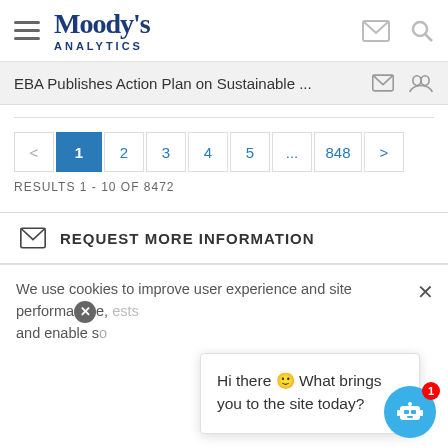[Figure (logo): Moody's Analytics logo with hamburger menu and header icons]
EBA Publishes Action Plan on Sustainable ...
RESULTS 1 - 10 OF 8472
REQUEST MORE INFORMATION
We use cookies to improve user experience and site performance, and enable social sharing. It also allows us to make requests